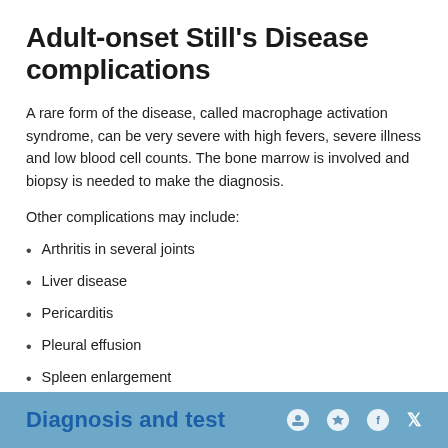Adult-onset Still's Disease complications
A rare form of the disease, called macrophage activation syndrome, can be very severe with high fevers, severe illness and low blood cell counts. The bone marrow is involved and biopsy is needed to make the diagnosis.
Other complications may include:
Arthritis in several joints
Liver disease
Pericarditis
Pleural effusion
Spleen enlargement
Diagnosis and test